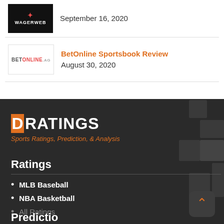September 16, 2020
BetOnline Sportsbook Review
August 30, 2020
[Figure (logo): DRatings logo with orange D and white RATINGS text]
Sports Ratings, Prediction, & Analysis
Ratings
MLB Baseball
NBA Basketball
All Ratings
Predictions